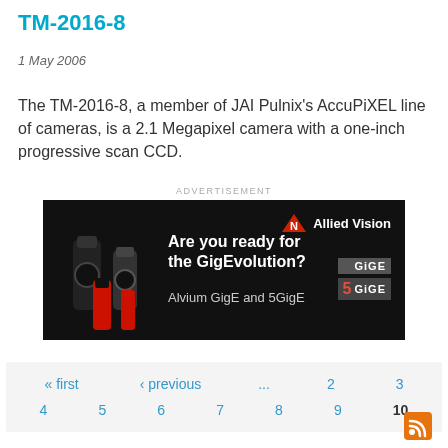TM-2016-8
1 May 2006
The TM-2016-8, a member of JAI Pulnix's AccuPiXEL line of cameras, is a 2.1 Megapixel camera with a one-inch progressive scan CCD.
ADVERTISEMENT
[Figure (illustration): Allied Vision advertisement banner: dark background with cameras on left, text 'Are you ready for the GigEvolution? Alvium GigE and 5GigE', Allied Vision logo top right, GigE and 5GigE badges.]
| « first | ‹ previous | ... | 2 | 3 |
| 4 | 5 | 6 | 7 | 8 | 9 | 10 |
ADVERTISEMENT